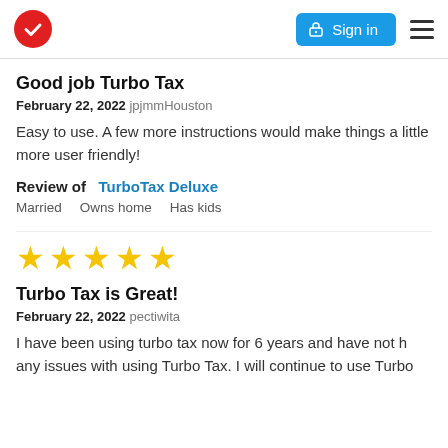[Figure (logo): TurboTax red circle checkmark logo on the left, blue Sign in button with lock icon, and hamburger menu icon on the right]
Good job Turbo Tax
February 22, 2022 jpjmmHouston
Easy to use. A few more instructions would make things a little more user friendly!
Review of   TurboTax Deluxe
Married    Owns home    Has kids
[Figure (illustration): Five gold star rating]
Turbo Tax is Great!
February 22, 2022 pectiwita
I have been using turbo tax now for 6 years and have not had any issues with using Turbo Tax. I will continue to use Turbo